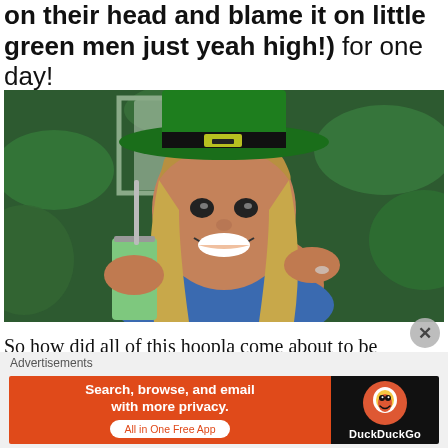on their head and blame it on little green men just yeah high!) for one day!
[Figure (photo): Woman smiling, wearing a green leprechaun hat and holding a green smoothie drink with a metal straw, surrounded by green plants.]
So how did all of this hoopla come about to be celebrated on the 17th of March? Well it
Advertisements
[Figure (infographic): DuckDuckGo advertisement banner: orange left panel reading 'Search, browse, and email with more privacy. All in One Free App' and dark right panel with DuckDuckGo logo and text.]